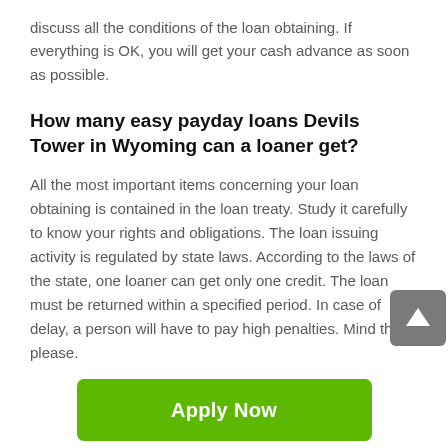discuss all the conditions of the loan obtaining. If everything is OK, you will get your cash advance as soon as possible.
How many easy payday loans Devils Tower in Wyoming can a loaner get?
All the most important items concerning your loan obtaining is contained in the loan treaty. Study it carefully to know your rights and obligations. The loan issuing activity is regulated by state laws. According to the laws of the state, one loaner can get only one credit. The loan must be returned within a specified period. In case of delay, a person will have to pay high penalties. Mind this, please.
[Figure (other): Green 'Apply Now' button]
Applying does NOT affect your credit score!
No credit check to apply.